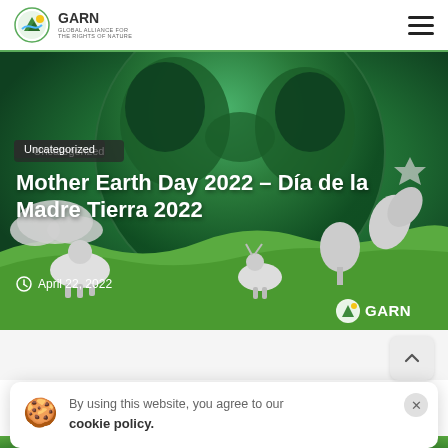GARN – Global Alliance for the Rights of Nature
[Figure (illustration): Hero image showing a paper-cut style illustration of Earth globe with green continents, surrounded by paper-craft animals and plants on a green background. Category label 'Uncategorized' and GARN watermark logo at bottom right.]
Mother Earth Day 2022 – Día de la Madre Tierra 2022
April 22, 2022
[Figure (screenshot): Scroll-to-top button with upward chevron arrow]
By using this website, you agree to our cookie policy.